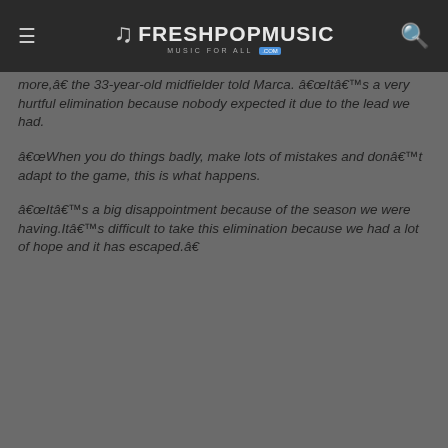FRESHPOPMUSIC MUSIC FOR ALL .com
more,â€ the 33-year-old midfielder told Marca. â€œItâ€™s a very hurtful elimination because nobody expected it due to the lead we had.
â€œWhen you do things badly, make lots of mistakes and donâ€™t adapt to the game, this is what happens.
â€œItâ€™s a big disappointment because of the season we were having. Itâ€™s difficult to take this elimination because we had a lot of hope and it has escaped.â€